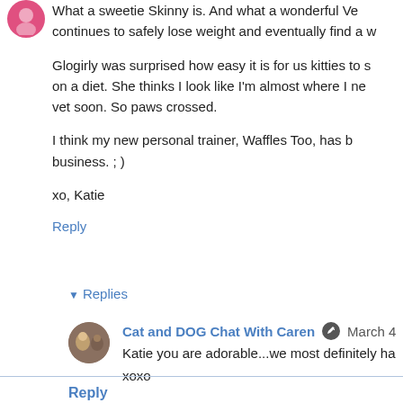What a sweetie Skinny is. And what a wonderful Ve... continues to safely lose weight and eventually find a w...
Glogirly was surprised how easy it is for us kitties to s... on a diet. She thinks I look like I'm almost where I ne... vet soon. So paws crossed.
I think my new personal trainer, Waffles Too, has b... business. ; )
xo, Katie
Reply
▾ Replies
Cat and DOG Chat With Caren  March 4
Katie you are adorable...we most definitely ha... xoxo
Reply